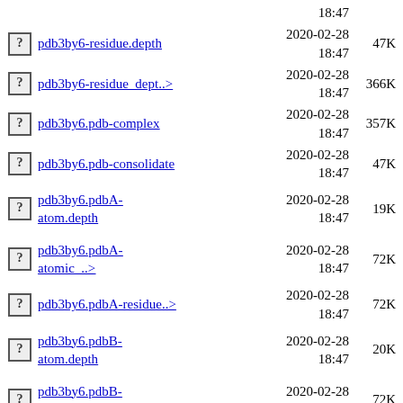pdb3by6-residue.depth   2020-02-28 18:47   47K
pdb3by6-residue_dept..>   2020-02-28 18:47   366K
pdb3by6.pdb-complex   2020-02-28 18:47   357K
pdb3by6.pdb-consolidate   2020-02-28 18:47   47K
pdb3by6.pdbA-atom.depth   2020-02-28 18:47   19K
pdb3by6.pdbA-atomic_..>   2020-02-28 18:47   72K
pdb3by6.pdbA-residue..>   2020-02-28 18:47   72K
pdb3by6.pdbB-atom.depth   2020-02-28 18:47   20K
pdb3by6.pdbB-atomic_..>   2020-02-28 18:47   72K
pdb3by6.pdbB-residue..>   2020-02-28 18:47   72K
pdb3by6.pdbC-atom.depth   2020-02-28 18:47   21K